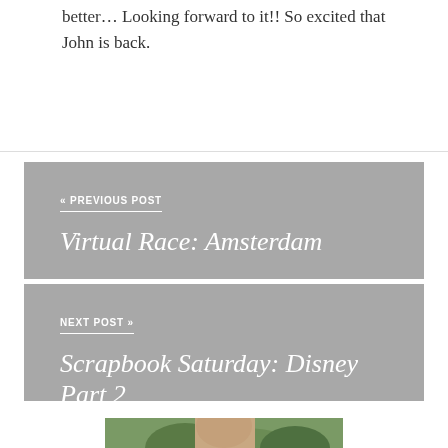better… Looking forward to it!! So excited that John is back.
« PREVIOUS POST
Virtual Race: Amsterdam
NEXT POST »
Scrapbook Saturday: Disney Part 2
[Figure (photo): Portrait photo of a person outdoors with palm tree foliage in the background]